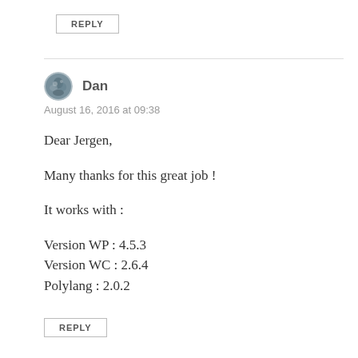REPLY
Dan
August 16, 2016 at 09:38
Dear Jergen,
Many thanks for this great job !
It works with :
Version WP : 4.5.3
Version WC : 2.6.4
Polylang : 2.0.2
REPLY